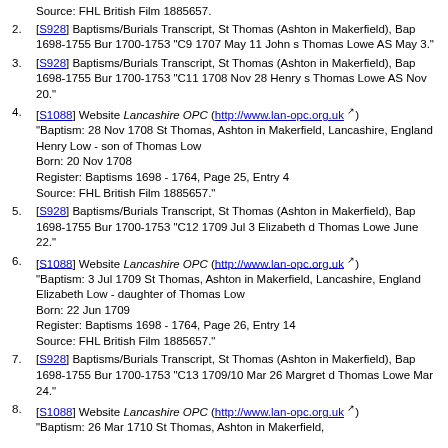Source: FHL British Film 1885657.
2. [S928] Baptisms/Burials Transcript, St Thomas (Ashton in Makerfield), Bap 1698-1755 Bur 1700-1753 "C9 1707 May 11 John s Thomas Lowe AS May 3."
3. [S928] Baptisms/Burials Transcript, St Thomas (Ashton in Makerfield), Bap 1698-1755 Bur 1700-1753 "C11 1708 Nov 28 Henry s Thomas Lowe AS Nov 20."
4. [S1088] Website Lancashire OPC (http://www.lan-opc.org.uk) "Baptism: 28 Nov 1708 St Thomas, Ashton in Makerfield, Lancashire, England
Henry Low - son of Thomas Low
Born: 20 Nov 1708
Register: Baptisms 1698 - 1764, Page 25, Entry 4
Source: FHL British Film 1885657."
5. [S928] Baptisms/Burials Transcript, St Thomas (Ashton in Makerfield), Bap 1698-1755 Bur 1700-1753 "C12 1709 Jul 3 Elizabeth d Thomas Lowe June 22."
6. [S1088] Website Lancashire OPC (http://www.lan-opc.org.uk) "Baptism: 3 Jul 1709 St Thomas, Ashton in Makerfield, Lancashire, England
Elizabeth Low - daughter of Thomas Low
Born: 22 Jun 1709
Register: Baptisms 1698 - 1764, Page 26, Entry 14
Source: FHL British Film 1885657."
7. [S928] Baptisms/Burials Transcript, St Thomas (Ashton in Makerfield), Bap 1698-1755 Bur 1700-1753 "C13 1709/10 Mar 26 Margret d Thomas Lowe Mar 24."
8. [S1088] Website Lancashire OPC (http://www.lan-opc.org.uk) "Baptism: 26 Mar 1710 St Thomas, Ashton in Makerfield,